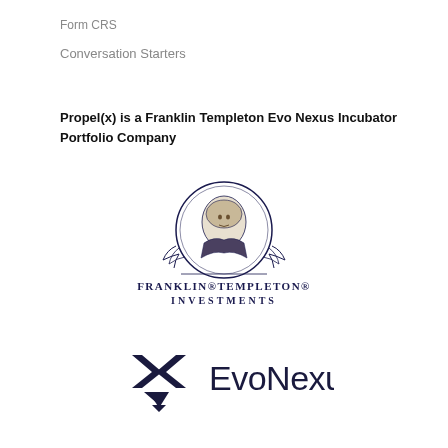Form CRS
Conversation Starters
Propel(x) is a Franklin Templeton Evo Nexus Incubator Portfolio Company
[Figure (logo): Franklin Templeton Investments logo featuring a portrait of Benjamin Franklin in a circular medallion above the text FRANKLIN TEMPLETON INVESTMENTS]
[Figure (logo): EvoNexus logo featuring a stylized X arrow symbol in dark navy next to the text EvoNexus in dark navy]